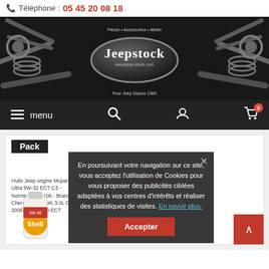Téléphone : 05 45 20 08 18
[Figure (logo): Jeepstock website banner with car parts and Jeepstock logo oval. Text: Pièces • Accessoires • Atelier, www.jeep-stock.com, Pour Jeep Depuis 1980]
[Figure (screenshot): Navigation bar with hamburger menu (menu), search icon, user icon, and shopping cart icon with badge '0']
Pack
Huile Jeep origine Mopar Shell Helix Ultra 5W-30 ECT C3 - Norme MS-11106 - Brand Cherokee WH/WK 3.0L CRD 2005-10 // 5W30-ECT
En poursuivant votre navigation sur ce site, vous acceptez l'utilisation de Cookies pour vous proposer des publicités ciblées adaptées à vos centres d'intérêts et réaliser des statistiques de visites. En savoir plus.
Accepter